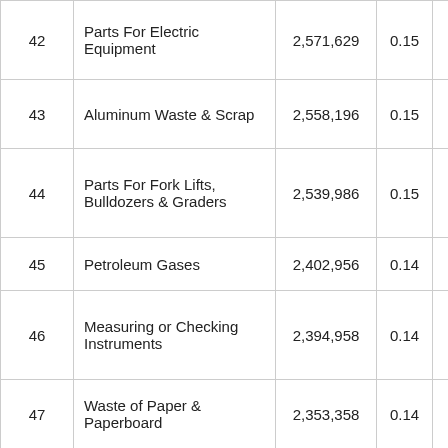| # | Name | Value1 | Value2 | Value3 |
| --- | --- | --- | --- | --- |
| 42 | Parts For Electric Equipment | 2,571,629 | 0.15 | 161.77 |
| 43 | Aluminum Waste & Scrap | 2,558,196 | 0.15 | 445.30 |
| 44 | Parts For Fork Lifts, Bulldozers & Graders | 2,539,986 | 0.15 | 148.91 |
| 45 | Petroleum Gases | 2,402,956 | 0.14 | 322.44 |
| 46 | Measuring or Checking Instruments | 2,394,958 | 0.14 | 154.46 |
| 47 | Waste of Paper & Paperboard | 2,353,358 | 0.14 | 441.49 |
| 48 | Non-Adhesive Plastic Plates, | 2,328,802 | 0.14 | 111.85 |